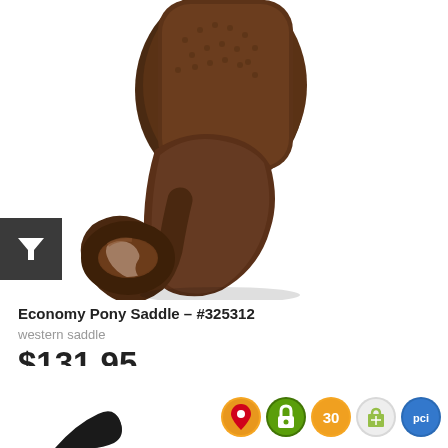[Figure (photo): Close-up photo of a dark brown leather western pony saddle showing the seat, fender, and stirrup leather against a white background]
[Figure (infographic): Dark grey square icon with white funnel/filter symbol]
Economy Pony Saddle - #325312
western saddle
$131.95
[Figure (photo): Partial view of another dark saddle at the bottom left of the page]
[Figure (infographic): Row of five trust/security badge icons: Google Maps pin (red/yellow), green padlock security badge, yellow '30' badge, Shopify shopping bag badge (grey/white), blue PCI compliance badge]